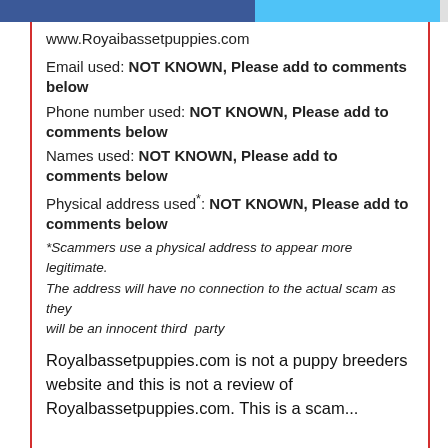www.Royaibassetpuppies.com
Email used: NOT KNOWN, Please add to comments below
Phone number used: NOT KNOWN, Please add to comments below
Names used: NOT KNOWN, Please add to comments below
Physical address used*: NOT KNOWN, Please add to comments below
*Scammers use a physical address to appear more legitimate. The address will have no connection to the actual scam as they will be an innocent third party
Royalbassetpuppies.com is not a puppy breeders website and this is not a review of Royalbassetpuppies.com. This is a scam...